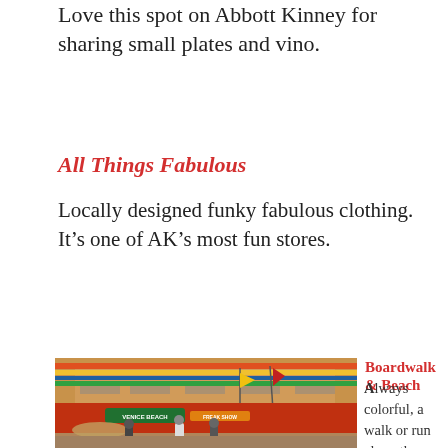Love this spot on Abbott Kinney for sharing small plates and vino.
All Things Fabulous
Locally designed funky fabulous clothing.  It's one of AK's most fun stores.
[Figure (photo): Venice Beach Freak Show exterior with colorful murals, red and yellow flags, people walking in front]
Boardwalk & Beach
Always colorful, a walk or run along the boardwalk is nothing if not entertaining. You'll see buskers and jewelry makers, peddlers and bums mixed in with some more affluent...